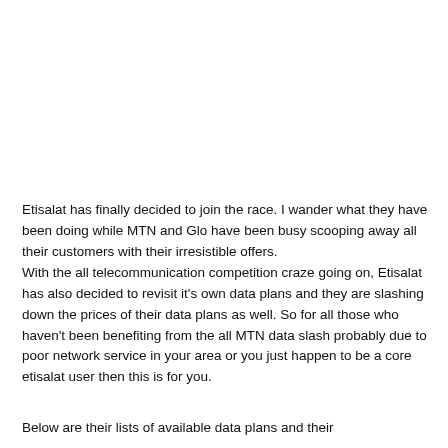Etisalat has finally decided to join the race. I wander what they have been doing while MTN and Glo have been busy scooping away all their customers with their irresistible offers. With the all telecommunication competition craze going on, Etisalat has also decided to revisit it's own data plans and they are slashing down the prices of their data plans as well. So for all those who haven't been benefiting from the all MTN data slash probably due to poor network service in your area or you just happen to be a core etisalat user then this is for you.
Below are their lists of available data plans and their...